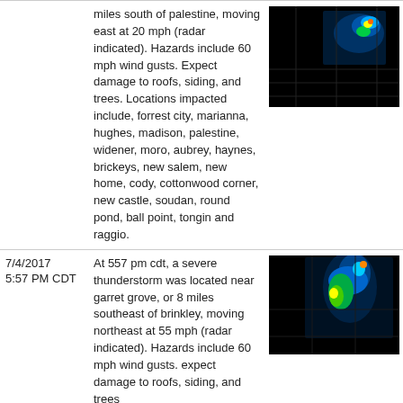| Date/Time | Description | Radar Image |
| --- | --- | --- |
|  | miles south of palestine, moving east at 20 mph (radar indicated). Hazards include 60 mph wind gusts. Expect damage to roofs, siding, and trees. Locations impacted include, forrest city, marianna, hughes, madison, palestine, widener, moro, aubrey, haynes, brickeys, new salem, new home, cody, cottonwood corner, new castle, soudan, round pond, ball point, tongin and raggio. | [radar image] |
| 7/4/2017 5:57 PM CDT | At 557 pm cdt, a severe thunderstorm was located near garret grove, or 8 miles southeast of brinkley, moving northeast at 55 mph (radar indicated). Hazards include 60 mph wind gusts. expect damage to roofs, siding, and trees | [radar image] |
| 6/18/2017 2:10 PM CDT | At 209 pm cdt, a severe thunderstorm was located over hughes, moving east at 45 mph (radar indicated). Hazards include 60 mph wind gusts. expect damage to roofs, siding, and trees | [radar image] |
| 6/18/2017 2:10 PM CDT | At 209 pm cdt, a severe thunderstorm was located over hughes, moving east at 45 mph (radar indicated). | [radar image] |